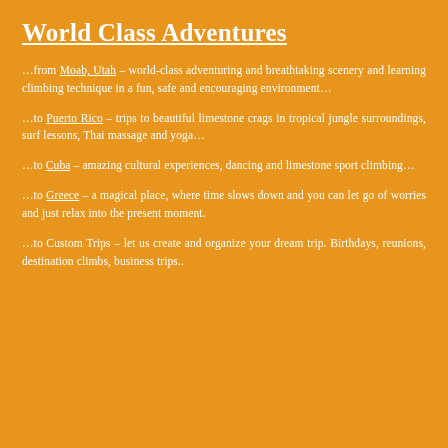World Class Adventures
…from Moab, Utah – world-class adventuring and breathtaking scenery and learning climbing technique in a fun, safe and encouraging environment…
…to Puerto Rico – trips to beautiful limestone crags in tropical jungle surroundings, surf lessons, Thai massage and yoga…
…to Cuba – amazing cultural experiences, dancing and limestone sport climbing…
…to Greece – a magical place, where time slows down and you can let go of worries and just relax into the present moment.
…to Custom Trips – let us create and organize your dream trip. Birthdays, reunions, destination climbs, business trips..